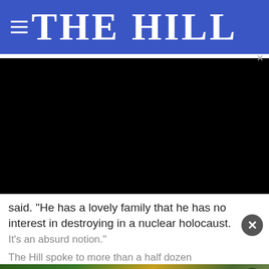THE HILL
[Figure (screenshot): Black video player box (video not loaded / black screen)]
said. "He has a lovely family that he has no interest in destroying in a nuclear holocaust. It's an absurd notion."
The Hill spoke to more than a half dozen
[Figure (other): Advertisement banner: DISCOVERtheFOREST.org with ad council and USDA Forest Service logos, colorful forest/flower background]